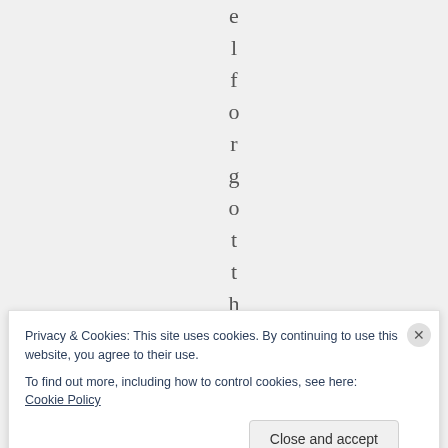[Figure (screenshot): Vertical text spelling 'elforgothe' with one letter per line, displayed on a light gray background. Letters visible: e, l, f, o, r, g, o, t, t, h, e]
Privacy & Cookies: This site uses cookies. By continuing to use this website, you agree to their use.
To find out more, including how to control cookies, see here: Cookie Policy
Close and accept